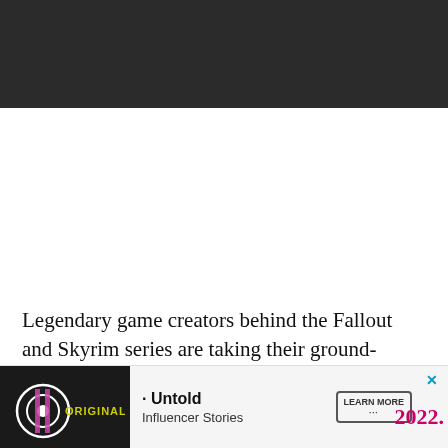[Figure (other): Dark header/navigation bar at top of webpage]
Legendary game creators behind the Fallout and Skyrim series are taking their ground-breaking RPGs to space with Starfield. The new IP was teased in 2018, and Bethesda finally gave players an extended look at [advertisement overlay] 2022.
[Figure (other): Advertisement banner at bottom: Originals logo on left, Untold Influencer Stories text in center, Learn More button, X close button, year 2022 in pink]